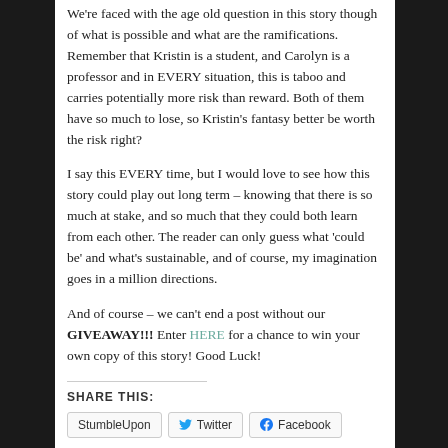We're faced with the age old question in this story though of what is possible and what are the ramifications. Remember that Kristin is a student, and Carolyn is a professor and in EVERY situation, this is taboo and carries potentially more risk than reward. Both of them have so much to lose, so Kristin's fantasy better be worth the risk right?
I say this EVERY time, but I would love to see how this story could play out long term – knowing that there is so much at stake, and so much that they could both learn from each other. The reader can only guess what 'could be' and what's sustainable, and of course, my imagination goes in a million directions.
And of course – we can't end a post without our GIVEAWAY!!! Enter HERE for a chance to win your own copy of this story! Good Luck!
SHARE THIS:
StumbleUpon
Twitter
Facebook